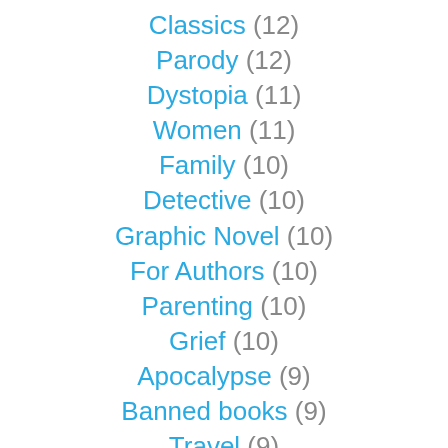Classics (12)
Parody (12)
Dystopia (11)
Women (11)
Family (10)
Detective (10)
Graphic Novel (10)
For Authors (10)
Parenting (10)
Grief (10)
Apocalypse (9)
Banned books (9)
Travel (9)
Supernatural (9)
Series (9)
Picture books (8)